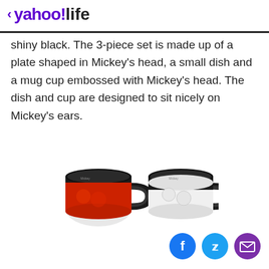< yahoo!life
shiny black. The 3-piece set is made up of a plate shaped in Mickey’s head, a small dish and a mug cup embossed with Mickey’s head. The dish and cup are designed to sit nicely on Mickey’s ears.
[Figure (photo): Two Mickey Mouse embossed mug cups side by side — one red and white with black top, one white with black top, both with handles on the right]
Social share icons: Facebook, Twitter, Email